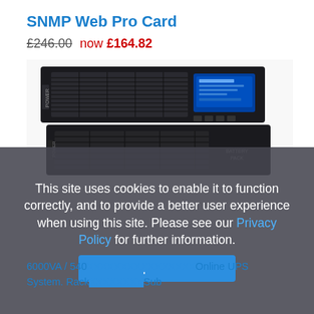SNMP Web Pro Card
£246.00 now £164.82
[Figure (photo): A rack-mount UPS (Uninterruptible Power Supply) unit in black, showing a 2U rack unit with ventilation grilles, a blue LCD display on the front panel, and a battery pack unit stacked below.]
This site uses cookies to enable it to function correctly, and to provide a better user experience when using this site. Please see our Privacy Policy for further information.
Accept Cookies
6000VA / 540 ... Online UPS System. Rack Tower ... Sub